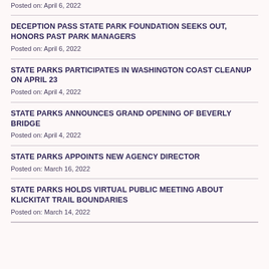Posted on: April 6, 2022
DECEPTION PASS STATE PARK FOUNDATION SEEKS OUT, HONORS PAST PARK MANAGERS
Posted on: April 6, 2022
STATE PARKS PARTICIPATES IN WASHINGTON COAST CLEANUP ON APRIL 23
Posted on: April 4, 2022
STATE PARKS ANNOUNCES GRAND OPENING OF BEVERLY BRIDGE
Posted on: April 4, 2022
STATE PARKS APPOINTS NEW AGENCY DIRECTOR
Posted on: March 16, 2022
STATE PARKS HOLDS VIRTUAL PUBLIC MEETING ABOUT KLICKITAT TRAIL BOUNDARIES
Posted on: March 14, 2022